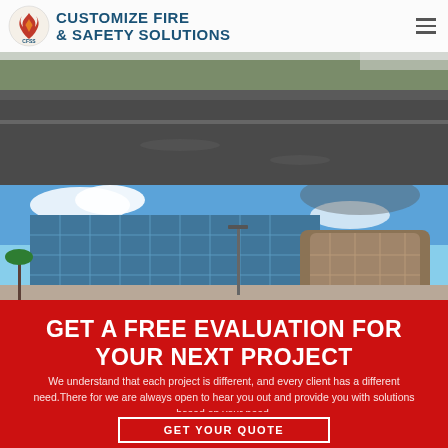[Figure (photo): Navigation bar with CFSS Customize Fire & Safety Solutions logo and hamburger menu icon, overlaid on a road/outdoor photo]
[Figure (photo): Outdoor road scene with asphalt pavement and surrounding landscape under a cloudy sky]
[Figure (photo): Modern commercial building with glass facade and curved architectural elements under a blue sky with clouds]
GET A FREE EVALUATION FOR YOUR NEXT PROJECT
We understand that each project is different, and every client has a different need.There for we are always open to hear you out and provide you with solutions based on your need.
GET YOUR QUOTE